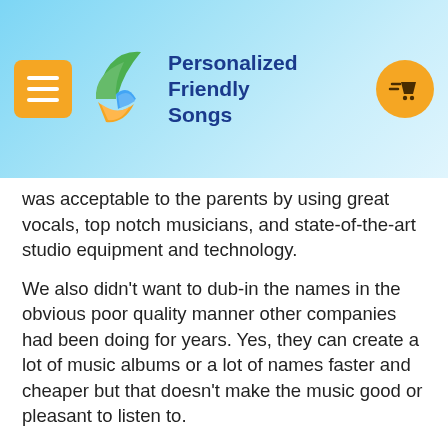[Figure (logo): Personalized Friendly Songs website header with orange menu button on the left, a colorful bird/feather logo in the center-left, company name 'Personalized Friendly Songs' in blue text, and an orange shopping cart button on the right, on a light blue gradient background.]
was acceptable to the parents by using great vocals, top notch musicians, and state-of-the-art studio equipment and technology.
We also didn't want to dub-in the names in the obvious poor quality manner other companies had been doing for years. Yes, they can create a lot of music albums or a lot of names faster and cheaper but that doesn't make the music good or pleasant to listen to.
And we wanted to be known as a company that was on the side of it's dealers. We didn't want to create a company that was based on just getting a bunch of money from our dealers on start-up costs by selling over priced computer equipment and then let them flounder. We wanted to make it affordable to get